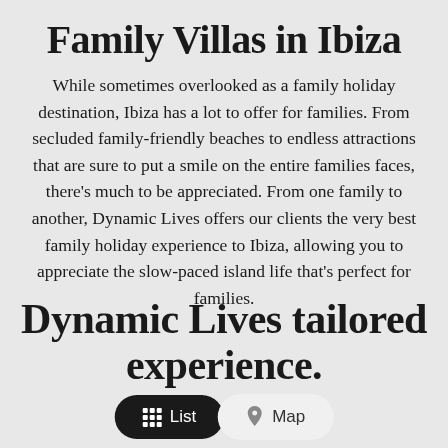Family Villas in Ibiza
While sometimes overlooked as a family holiday destination, Ibiza has a lot to offer for families. From secluded family-friendly beaches to endless attractions that are sure to put a smile on the entire families faces, there's much to be appreciated. From one family to another, Dynamic Lives offers our clients the very best family holiday experience to Ibiza, allowing you to appreciate the slow-paced island life that's perfect for families.
Dynamic Lives tailored experience.